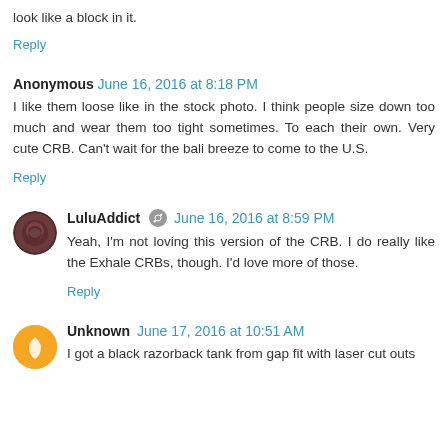look like a block in it.
Reply
Anonymous June 16, 2016 at 8:18 PM
I like them loose like in the stock photo. I think people size down too much and wear them too tight sometimes. To each their own. Very cute CRB. Can't wait for the bali breeze to come to the U.S.
Reply
LuluAddict June 16, 2016 at 8:59 PM
Yeah, I'm not loving this version of the CRB. I do really like the Exhale CRBs, though. I'd love more of those.
Reply
Unknown June 17, 2016 at 10:51 AM
I got a black razorback tank from gap fit with laser cut outs